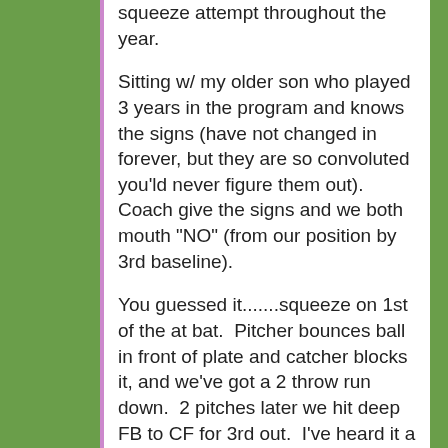squeeze attempt throughout the year.
Sitting w/ my older son who played 3 years in the program and knows the signs (have not changed in forever, but they are so convoluted you'ld never figure them out).  Coach give the signs and we both mouth "NO" (from our position by 3rd baseline).
You guessed it.......squeeze on 1st of the at bat.  Pitcher bounces ball in front of plate and catcher blocks it, and we've got a 2 throw run down.  2 pitches later we hit deep FB to CF for 3rd out.  I've heard it a million times "if the other team is trying to give you the game, let them".  If a suicide was the option,